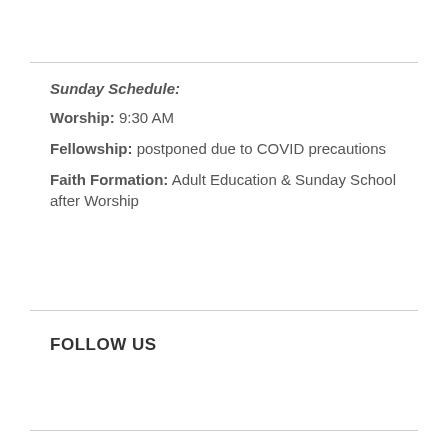Sunday Schedule:
Worship: 9:30 AM
Fellowship: postponed due to COVID precautions
Faith Formation: Adult Education & Sunday School after Worship
FOLLOW US